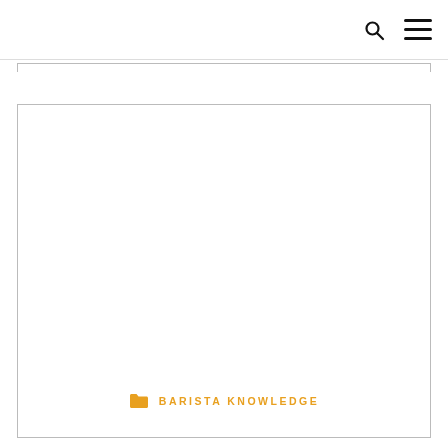[Figure (other): Large white rectangular content area with a thin border, mostly blank/white space representing a placeholder for an article image or content block. At the bottom is the category label 'BARISTA KNOWLEDGE' in orange uppercase letters with a folder icon.]
BARISTA KNOWLEDGE